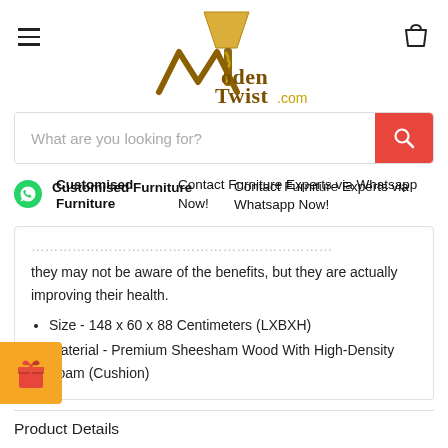WoodenTwist.com
What are you looking for?
Customised Furniture — Contact Furniture Experts via Whatsapp Now!
they may not be aware of the benefits, but they are actually improving their health.
Size - 148 x 60 x 88 Centimeters (LXBXH)
Material - Premium Sheesham Wood With High-Density Foam (Cushion)
Product Details